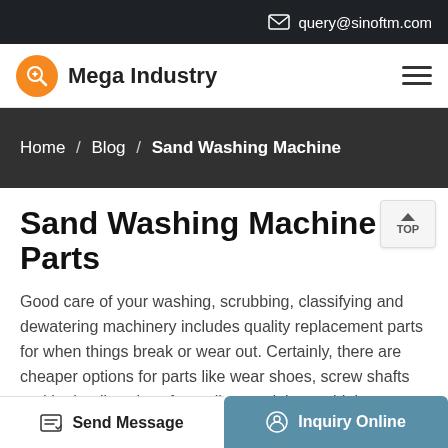query@sinoftm.com
[Figure (logo): Mega Industry logo with orange circular icon and wrench symbol]
Home / Blog / Sand Washing Machine
Sand Washing Machine Parts
Good care of your washing, scrubbing, classifying and dewatering machinery includes quality replacement parts for when things break or wear out. Certainly, there are cheaper options for parts like wear shoes, screw shafts and hydraulic valves from all around the world, but many times these
Send Message | Inquiry Online